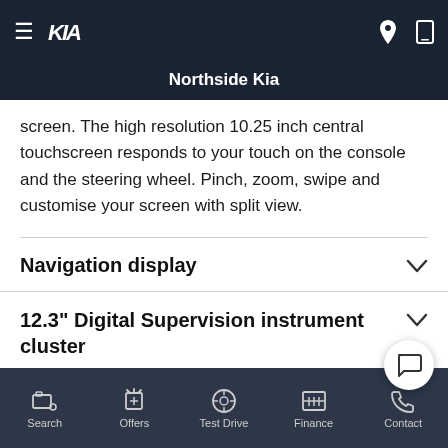Northside Kia
screen. The high resolution 10.25 inch central touchscreen responds to your touch on the console and the steering wheel. Pinch, zoom, swipe and customise your screen with split view.
Navigation display
12.3" Digital Supervision instrument cluster
Rotary gear shift dial
Search   Offers   Test Drive   Finance   Contact